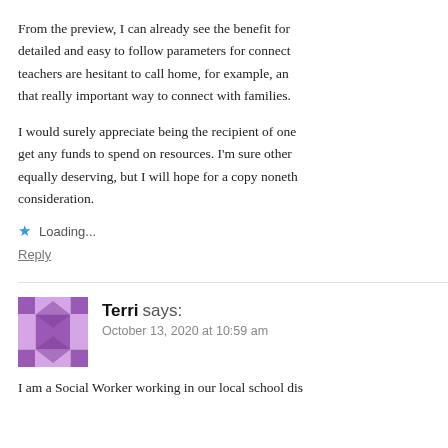From the preview, I can already see the benefit for detailed and easy to follow parameters for connect teachers are hesitant to call home, for example, an that really important way to connect with families.
I would surely appreciate being the recipient of one get any funds to spend on resources. I'm sure other equally deserving, but I will hope for a copy noneth consideration.
Loading...
Reply
Terri says:
October 13, 2020 at 10:59 am
I am a Social Worker working in our local school dis